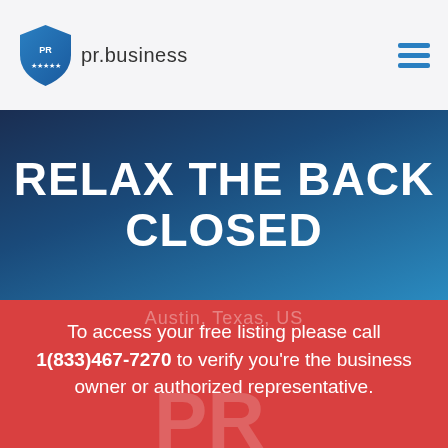[Figure (logo): PR Business shield logo with 'PR' letters and stars, followed by text 'pr.business']
RELAX THE BACK CLOSED
To access your free listing please call 1(833)467-7270 to verify you're the business owner or authorized representative.